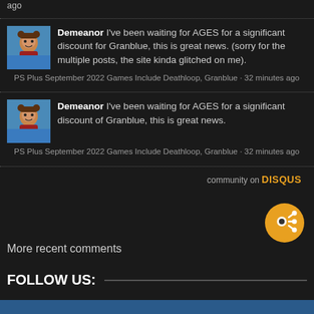ago
Demeanor I've been waiting for AGES for a significant discount for Granblue, this is great news. (sorry for the multiple posts, the site kinda glitched on me). PS Plus September 2022 Games Include Deathloop, Granblue · 32 minutes ago
Demeanor I've been waiting for AGES for a significant discount of Granblue, this is great news. PS Plus September 2022 Games Include Deathloop, Granblue · 32 minutes ago
community on DISQUS
More recent comments
FOLLOW US: